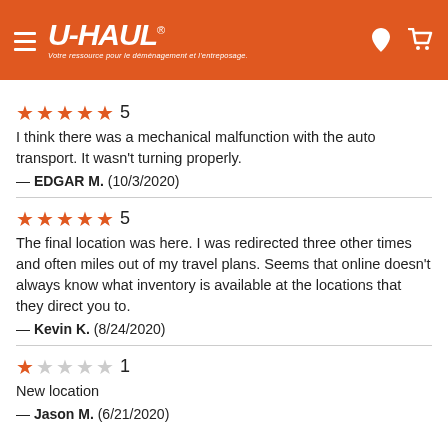[Figure (logo): U-Haul orange header with hamburger menu, U-HAUL logo, tagline in French, location pin icon, and cart icon]
★★★★★ 5
I think there was a mechanical malfunction with the auto transport. It wasn't turning properly.
— EDGAR M.  (10/3/2020)
★★★★★ 5
The final location was here. I was redirected three other times and often miles out of my travel plans. Seems that online doesn't always know what inventory is available at the locations that they direct you to.
— Kevin K.  (8/24/2020)
★☆☆☆☆ 1
New location
— Jason M.  (6/21/2020)